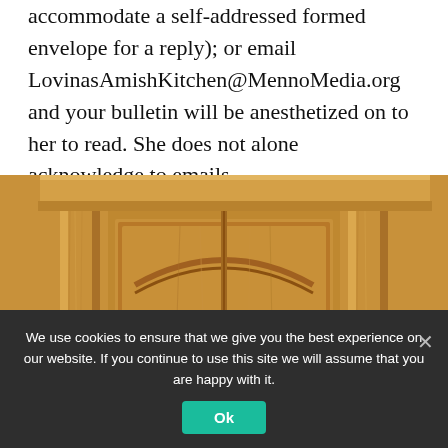accommodate a self-addressed formed envelope for a reply); or email LovinasAmishKitchen@MennoMedia.org and your bulletin will be anesthetized on to her to read. She does not alone acknowledge to emails.
[Figure (photo): Close-up photo of the top portion of a wooden cabinet or hutch made of light oak wood, showing detailed wood grain texture and an arched decorative panel on the door.]
We use cookies to ensure that we give you the best experience on our website. If you continue to use this site we will assume that you are happy with it.